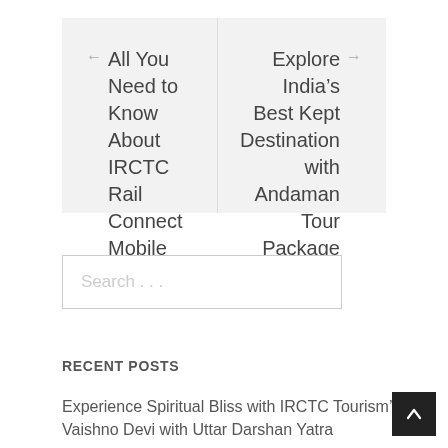← All You Need to Know About IRCTC Rail Connect Mobile App
Explore India's Best Kept Destination with Andaman Tour Package →
Search . . .
RECENT POSTS
Experience Spiritual Bliss with IRCTC Tourism's Vaishno Devi with Uttar Darshan Yatra